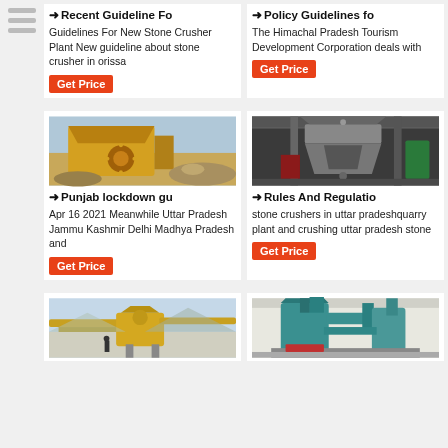[Figure (other): Sidebar with three horizontal lines menu icon]
→ Recent Guideline Fo
Guidelines For New Stone Crusher Plant New guideline about stone crusher in orissa
Get Price
→ Policy Guidelines fo
The Himachal Pradesh Tourism Development Corporation deals with
Get Price
[Figure (photo): Yellow stone crusher machinery at quarry site, outdoor daytime]
→ Punjab lockdown gu
Apr 16 2021  Meanwhile Uttar Pradesh Jammu Kashmir Delhi Madhya Pradesh and
Get Price
[Figure (photo): Industrial cone crusher machine in a factory setting]
→ Rules And Regulatio
stone crushers in uttar pradeshquarry plant and crushing uttar pradesh stone
Get Price
[Figure (photo): Large stone crushing and conveyor plant aerial view, industrial site]
[Figure (photo): Teal/blue industrial milling or grinding machine equipment indoors]